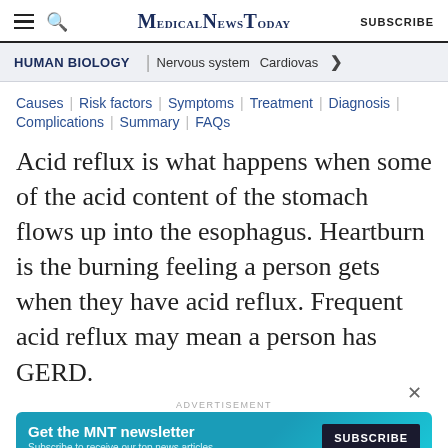MedicalNewsToday | SUBSCRIBE
HUMAN BIOLOGY | Nervous system | Cardiovas
Causes | Risk factors | Symptoms | Treatment | Diagnosis | Complications | Summary | FAQs
Acid reflux is what happens when some of the acid content of the stomach flows up into the esophagus. Heartburn is the burning feeling a person gets when they have acid reflux. Frequent acid reflux may mean a person has GERD.
ADVERTISEMENT
Get the MNT newsletter — Subscribe to receive our top news articles — SUBSCRIBE